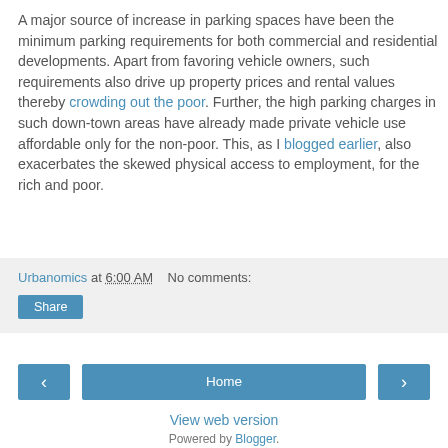A major source of increase in parking spaces have been the minimum parking requirements for both commercial and residential developments. Apart from favoring vehicle owners, such requirements also drive up property prices and rental values thereby crowding out the poor. Further, the high parking charges in such down-town areas have already made private vehicle use affordable only for the non-poor. This, as I blogged earlier, also exacerbates the skewed physical access to employment, for the rich and poor.
Urbanomics at 6:00 AM   No comments:
Share
< Home >
View web version
Powered by Blogger.